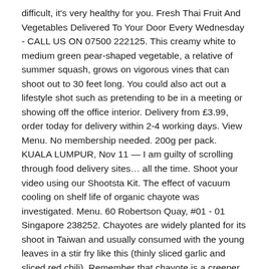difficult, it's very healthy for you. Fresh Thai Fruit And Vegetables Delivered To Your Door Every Wednesday - CALL US ON 07500 222125. This creamy white to medium green pear-shaped vegetable, a relative of summer squash, grows on vigorous vines that can shoot out to 30 feet long. You could also act out a lifestyle shot such as pretending to be in a meeting or showing off the office interior. Delivery from £3.99, order today for delivery within 2-4 working days. View Menu. No membership needed. 200g per pack. KUALA LUMPUR, Nov 11 — I am guilty of scrolling through food delivery sites… all the time. Shoot your video using our Shootsta Kit. The effect of vacuum cooling on shelf life of organic chayote was investigated. Menu. 60 Robertson Quay, #01 - 01 Singapore 238252. Chayotes are widely planted for its shoot in Taiwan and usually consumed with the young leaves in a stir fry like this (thinly sliced garlic and sliced red chili). Remember that chayote is a creeper. We're not a video production agency; as your video partner, we aim to be an extension of your Shootsta-trained production team. Singapore 089143. On-location shoot is very much possible as we have clients contacting us to do the shoot at